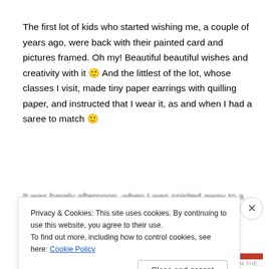The first lot of kids who started wishing me, a couple of years ago, were back with their painted card and pictures framed. Oh my! Beautiful beautiful wishes and creativity with it 🙂 And the littlest of the lot, whose classes I visit, made tiny paper earrings with quilling paper, and instructed that I wear it, as and when I had a saree to match 🙂
It was barely afternoon, when I was spirited away to a
Privacy & Cookies: This site uses cookies. By continuing to use this website, you agree to their use.
To find out more, including how to control cookies, see here: Cookie Policy